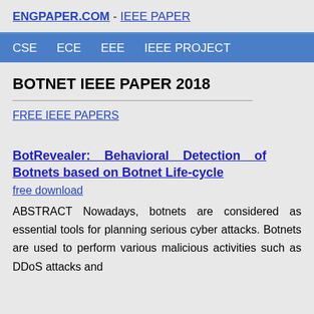ENGPAPER.COM - IEEE PAPER
CSE  ECE  EEE  IEEE PROJECT
BOTNET IEEE PAPER 2018
FREE IEEE PAPERS
BotRevealer: Behavioral Detection of Botnets based on Botnet Life-cycle
free download
ABSTRACT Nowadays, botnets are considered as essential tools for planning serious cyber attacks. Botnets are used to perform various malicious activities such as DDoS attacks and